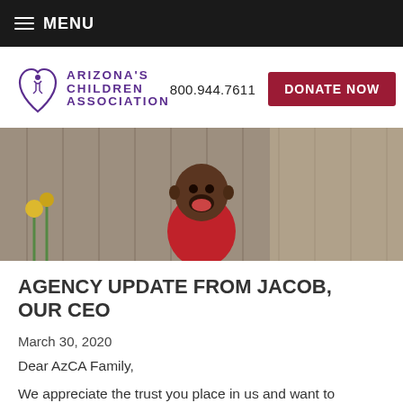MENU
[Figure (logo): Arizona's Children Association logo with purple heart/figure icon and text ARIZONA'S CHILDREN ASSOCIATION]
800.944.7611
DONATE NOW
[Figure (photo): A happy young Black toddler boy in a red shirt laughing outdoors, with yellow flowers and wooden fence in background]
AGENCY UPDATE FROM JACOB, OUR CEO
March 30, 2020
Dear AzCA Family,
We appreciate the trust you place in us and want to